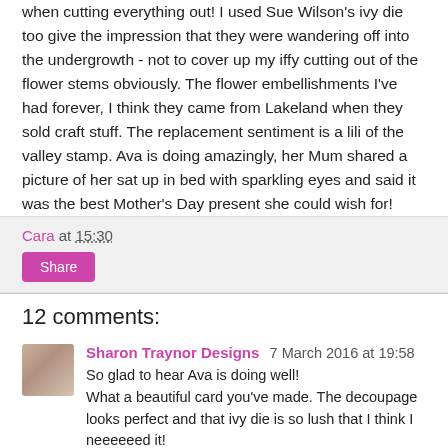when cutting everything out! I used Sue Wilson's ivy die too give the impression that they were wandering off into the undergrowth - not to cover up my iffy cutting out of the flower stems obviously. The flower embellishments I've had forever, I think they came from Lakeland when they sold craft stuff. The replacement sentiment is a lili of the valley stamp. Ava is doing amazingly, her Mum shared a picture of her sat up in bed with sparkling eyes and said it was the best Mother's Day present she could wish for!
Cara at 15:30
Share
12 comments:
Sharon Traynor Designs 7 March 2016 at 19:58
So glad to hear Ava is doing well!
What a beautiful card you've made. The decoupage looks perfect and that ivy die is so lush that I think I neeeeeed it!